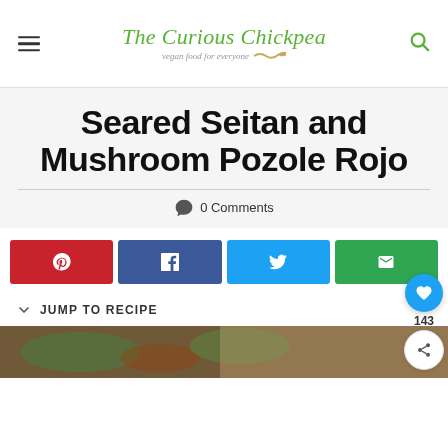The Curious Chickpea — vegan food for everyone
Seared Seitan and Mushroom Pozole Rojo
0 Comments
[Figure (other): Social share buttons: Pinterest (red), Facebook (blue), Twitter (blue), Email (green)]
JUMP TO RECIPE
[Figure (photo): Partial food photo at bottom of page showing a dish, cropped]